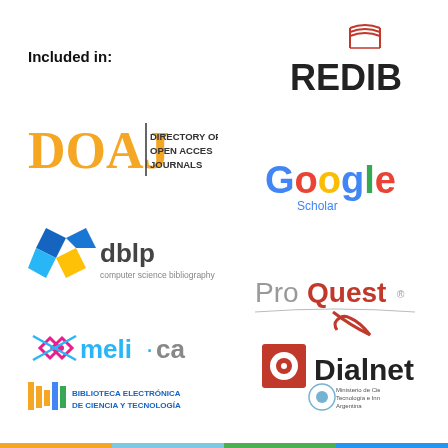Included in:
[Figure (logo): REDIB logo with open book icon in red and dark text]
[Figure (logo): DOAJ - Directory of Open Access Journals logo in orange and black]
[Figure (logo): Google Scholar logo in Google colors]
[Figure (logo): dblp computer science bibliography logo with blue and yellow geometric shapes]
[Figure (logo): ProQuest logo in gray and red]
[Figure (logo): Amelica logo with pink diamond shapes and cyan/blue text]
[Figure (logo): Dialnet logo with red target icon and black text]
[Figure (logo): Biblioteca Electronica de Ciencia y Tecnologia logo]
[Figure (logo): Ministerio de Ciencia Tecnologia e Innovacion Argentina logo]